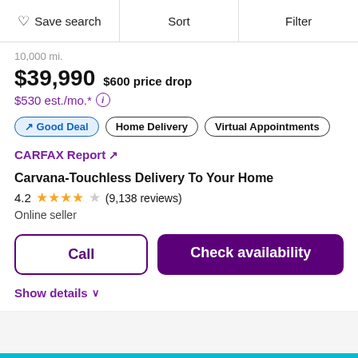Save search | Sort | Filter
10,000 mi.
$39,990  $600 price drop
$530 est./mo.* (i)
Good Deal | Home Delivery | Virtual Appointments
CARFAX Report ↗
Carvana-Touchless Delivery To Your Home
4.2 ★★★★☆ (9,138 reviews)
Online seller
Call | Check availability
Show details ∨